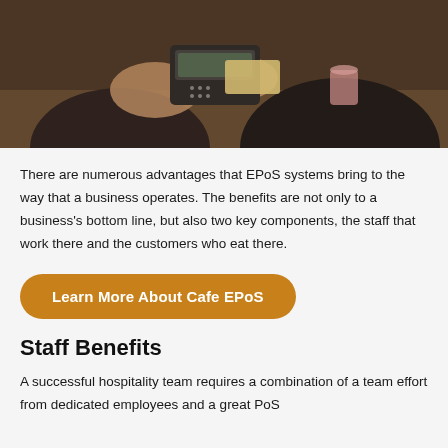[Figure (photo): Close-up photo of two people exchanging payment using a card terminal/POS device at what appears to be a cafe or restaurant table.]
There are numerous advantages that EPoS systems bring to the way that a business operates. The benefits are not only to a business's bottom line, but also two key components, the staff that work there and the customers who eat there.
Learn More About Cafe EPoS
Staff Benefits
A successful hospitality team requires a combination of a team effort from dedicated employees and a great PoS